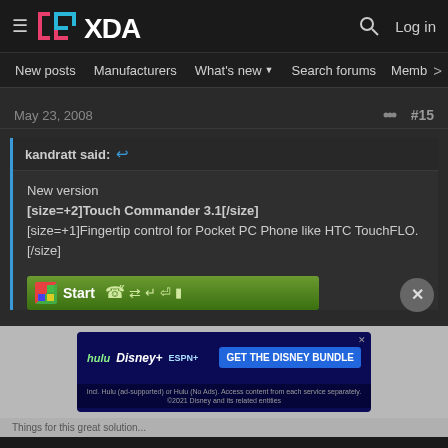[Figure (screenshot): XDA Developers forum page header with hamburger menu, XDA logo, search icon, and Log in link]
New posts  Manufacturers  What's new  Search forums  Membe  >
May 23, 2008
#15
kandratt said:
New version
[size=+2]Touch Commander 3.1[/size]
[size=+1]Fingertip control for Pocket PC Phone like HTC TouchFLO.[/size]
[Figure (screenshot): Windows Mobile Start bar taskbar with green gradient background showing Start text and status icons]
[Figure (screenshot): Hulu Disney+ ESPN+ GET THE DISNEY BUNDLE advertisement banner. Incl. Hulu (ad-supported) or Hulu (No Ads). Access content from each service separately. ©2021 Disney and its related entities]
Things for this great solution...